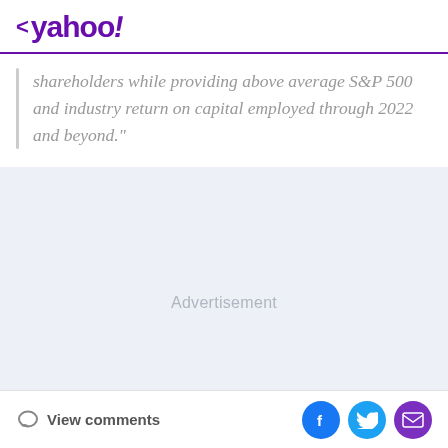< yahoo!
shareholders while providing above average S&P 500 and industry return on capital employed through 2022 and beyond."
[Figure (other): Advertisement placeholder with light grey-blue background]
View comments | Facebook, Twitter, Email share buttons